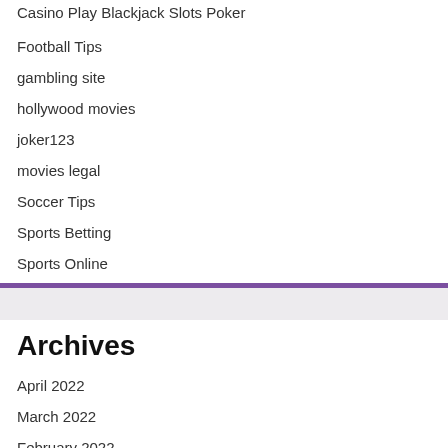Casino Play Blackjack Slots Poker
Football Tips
gambling site
hollywood movies
joker123
movies legal
Soccer Tips
Sports Betting
Sports Online
Archives
April 2022
March 2022
February 2022
January 2022